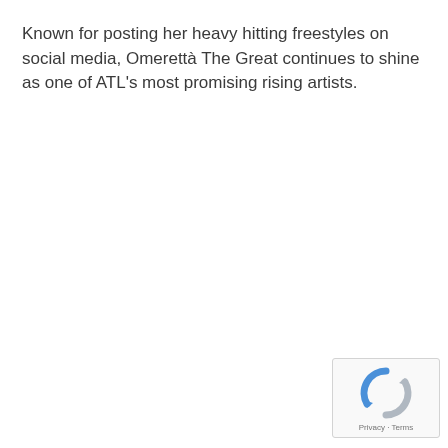Known for posting her heavy hitting freestyles on social media, Omerettà The Great continues to shine as one of ATL's most promising rising artists.
[Figure (logo): reCAPTCHA badge with spinning arrows logo icon and Privacy · Terms text]